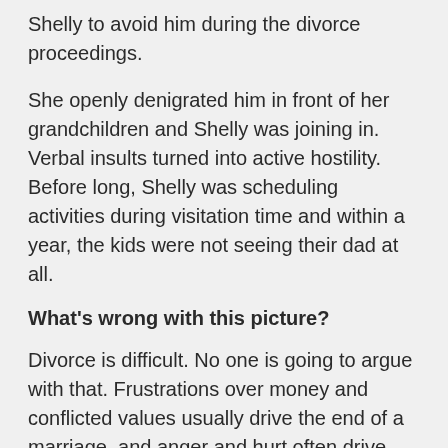Shelly to avoid him during the divorce proceedings.
She openly denigrated him in front of her grandchildren and Shelly was joining in. Verbal insults turned into active hostility. Before long, Shelly was scheduling activities during visitation time and within a year, the kids were not seeing their dad at all.
What's wrong with this picture?
Divorce is difficult. No one is going to argue with that. Frustrations over money and conflicted values usually drive the end of a marriage, and anger and hurt often drive both parties' actions. But the kids are not, and should not, be part of these dynamics.